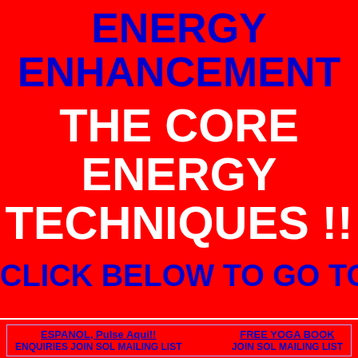ENERGY ENHANCEMENT
THE CORE ENERGY TECHNIQUES !!
CLICK BELOW TO GO TO
ESPANOL, Pulse Aqui!!    FREE YOGA BOOK
ENQUIRIES  JOIN SOL MAILING LIST